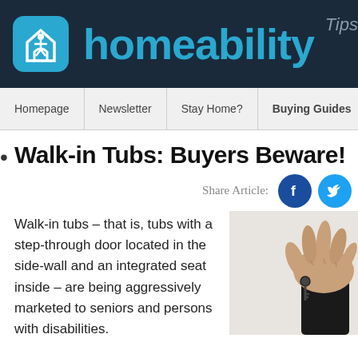[Figure (logo): Homeability logo with house icon on dark navy background, brand name in blue, and 'Tips' label in grey]
Homepage | Newsletter | Stay Home? | Buying Guides | Mo...
Walk-in Tubs: Buyers Beware!
Share Article:
Walk-in tubs – that is, tubs with a step-through door located in the side-wall and an integrated seat inside – are being aggressively marketed to seniors and persons with disabilities.
[Figure (photo): Person holding keys with fingers, wearing a black sleeve, on a light background]